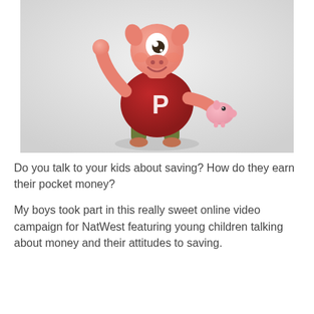[Figure (illustration): A 3D animated cartoon pig character wearing a red t-shirt with a 'P' on it, holding a small pink piggy bank, waving one hand up. The character has one large eye and stands on a light gray background.]
Do you talk to your kids about saving? How do they earn their pocket money?
My boys took part in this really sweet online video campaign for NatWest featuring young children talking about money and their attitudes to saving.